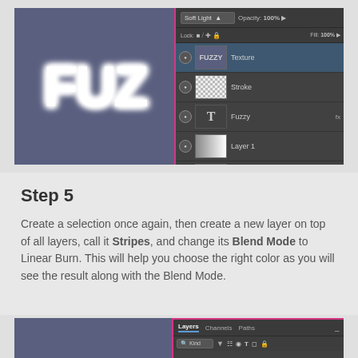[Figure (screenshot): Photoshop screenshot showing fuzzy text 'FUZ' on a blue background on the left, and the Layers panel on the right with layers: Texture (selected, Soft Light blend mode), Stroke, Fuzzy (text layer with fx), Layer 1, and Background.]
Step 5
Create a selection once again, then create a new layer on top of all layers, call it Stripes, and change its Blend Mode to Linear Burn. This will help you choose the right color as you will see the result along with the Blend Mode.
[Figure (screenshot): Bottom portion of Photoshop interface showing the Layers panel tabs (Layers, Channels, Paths) and a search/filter bar below it, with a blue canvas on the left.]